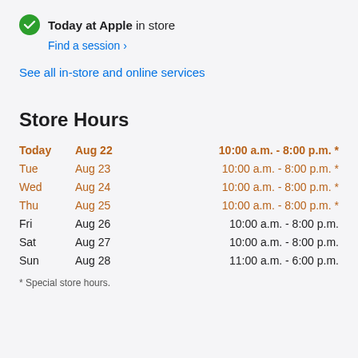Today at Apple in store
Find a session ›
See all in-store and online services
Store Hours
| Day | Date | Hours |
| --- | --- | --- |
| Today | Aug 22 | 10:00 a.m. - 8:00 p.m. * |
| Tue | Aug 23 | 10:00 a.m. - 8:00 p.m. * |
| Wed | Aug 24 | 10:00 a.m. - 8:00 p.m. * |
| Thu | Aug 25 | 10:00 a.m. - 8:00 p.m. * |
| Fri | Aug 26 | 10:00 a.m. - 8:00 p.m. |
| Sat | Aug 27 | 10:00 a.m. - 8:00 p.m. |
| Sun | Aug 28 | 11:00 a.m. - 6:00 p.m. |
* Special store hours.